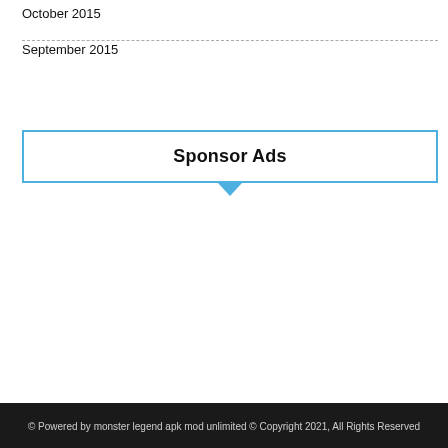October 2015
September 2015
[Figure (other): Sponsor Ads box with blue border and downward arrow below]
© Powered by monster legend apk mod unlimited © Copyright 2021, All Rights Reserved